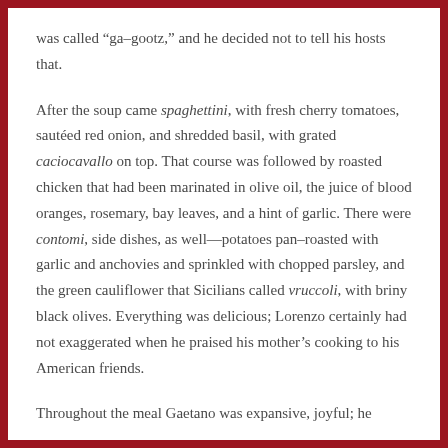was called “ga–gootz,” and he decided not to tell his hosts that.
After the soup came spaghettini, with fresh cherry tomatoes, sautéed red onion, and shredded basil, with grated caciocavallo on top. That course was followed by roasted chicken that had been marinated in olive oil, the juice of blood oranges, rosemary, bay leaves, and a hint of garlic. There were contomi, side dishes, as well—potatoes pan–roasted with garlic and anchovies and sprinkled with chopped parsley, and the green cauliflower that Sicilians called vruccoli, with briny black olives. Everything was delicious; Lorenzo certainly had not exaggerated when he praised his mother’s cooking to his American friends.
Throughout the meal Gaetano was expansive, joyful; he